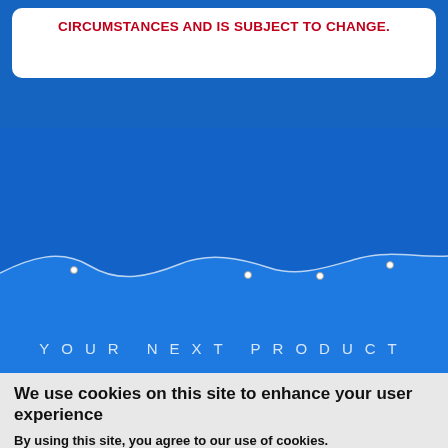CIRCUMSTANCES AND IS SUBJECT TO CHANGE.
[Figure (illustration): Blue background section with wave graphic separating two blue tones, with dots marking bezier control points on the wave curve. Text 'YOUR NEXT PRODUCT' displayed at the bottom.]
YOUR NEXT PRODUCT
We use cookies on this site to enhance your user experience
By using this site, you agree to our use of cookies.
Learn More
Accept
Decline